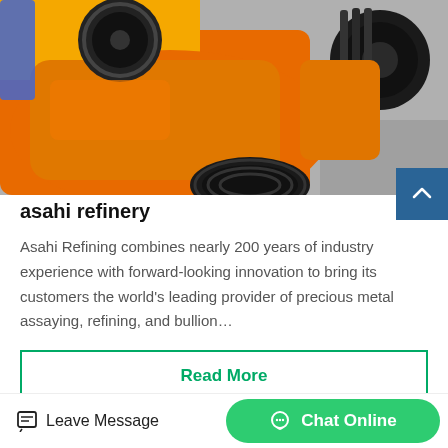[Figure (photo): Close-up photograph of bright orange industrial machinery (jaw crusher or similar heavy equipment) with black rubber belt pulleys/wheels, on a gray floor background.]
asahi refinery
Asahi Refining combines nearly 200 years of industry experience with forward-looking innovation to bring its customers the world's leading provider of precious metal assaying, refining, and bullion…
Read More
Leave Message   Chat Online